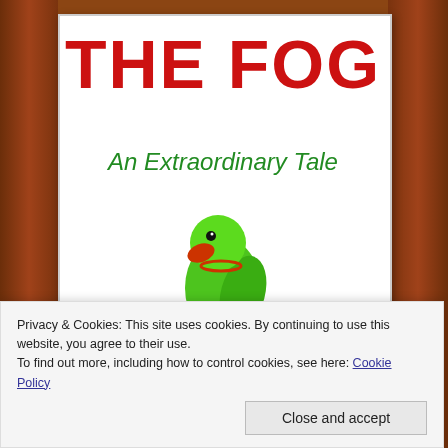[Figure (illustration): Book cover for 'THE FOG: An Extraordinary Tale' by Gerrard T Wilson, featuring large red handwritten-style title text, green italic subtitle, a green parrot illustration in the center, and the author name in red at the bottom, all on a white background.]
Privacy & Cookies: This site uses cookies. By continuing to use this website, you agree to their use.
To find out more, including how to control cookies, see here: Cookie Policy
Close and accept